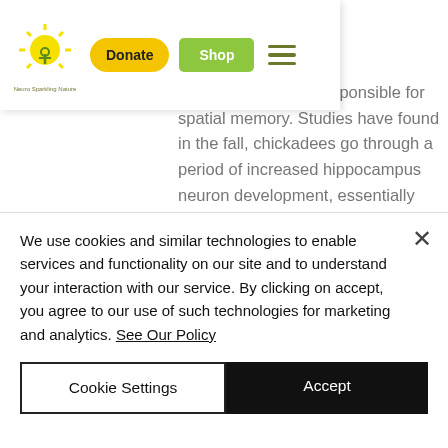[Figure (logo): Website navigation bar with a circular logo (yellow sun/tree design), a yellow oval 'Donate' button, a green rounded 'Shop' button, and a hamburger menu icon]
e area of the brain responsible for spatial memory. Studies have found in the fall, chickadees go through a period of increased hippocampus neuron development, essentially increasing their spatial memory capacity for winter! They've also found birds in colder climates, which may have to rely more heavily on food caching during winter,
We use cookies and similar technologies to enable services and functionality on our site and to understand your interaction with our service. By clicking on accept, you agree to our use of such technologies for marketing and analytics. See Our Policy
Cookie Settings
Accept